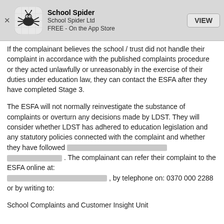[Figure (screenshot): App Store banner showing School Spider app with spider icon, title 'School Spider', subtitle 'School Spider Ltd', 'FREE - On the App Store', and a VIEW button]
If the complainant believes the school / trust did not handle their complaint in accordance with the published complaints procedure or they acted unlawfully or unreasonably in the exercise of their duties under education law, they can contact the ESFA after they have completed Stage 3.
The ESFA will not normally reinvestigate the substance of complaints or overturn any decisions made by LDST. They will consider whether LDST has adhered to education legislation and any statutory policies connected with the complaint and whether they have followed [redacted] . The complainant can refer their complaint to the ESFA online at: [redacted] , by telephone on: 0370 000 2288 or by writing to:
School Complaints and Customer Insight Unit